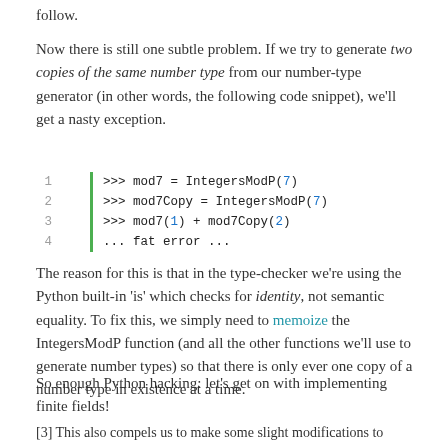follow.
Now there is still one subtle problem. If we try to generate two copies of the same number type from our number-type generator (in other words, the following code snippet), we’ll get a nasty exception.
[Figure (screenshot): Code block with 4 lines: line 1: >>> mod7 = IntegersModP(7), line 2: >>> mod7Copy = IntegersModP(7), line 3: >>> mod7(1) + mod7Copy(2), line 4: ... fat error ...]
The reason for this is that in the type-checker we’re using the Python built-in ‘is’ which checks for identity, not semantic equality. To fix this, we simply need to memoize the IntegersModP function (and all the other functions we’ll use to generate number types) so that there is only ever one copy of a number type in existence at a time.
So enough Python hacking: let’s get on with implementing finite fields!
[3] This also compels us to make some slight modifications to